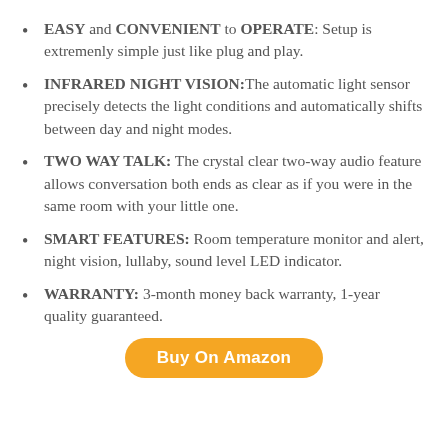EASY and CONVENIENT to OPERATE: Setup is extremenly simple just like plug and play.
INFRARED NIGHT VISION:The automatic light sensor precisely detects the light conditions and automatically shifts between day and night modes.
TWO WAY TALK: The crystal clear two-way audio feature allows conversation both ends as clear as if you were in the same room with your little one.
SMART FEATURES: Room temperature monitor and alert, night vision, lullaby, sound level LED indicator.
WARRANTY: 3-month money back warranty, 1-year quality guaranteed.
Buy On Amazon